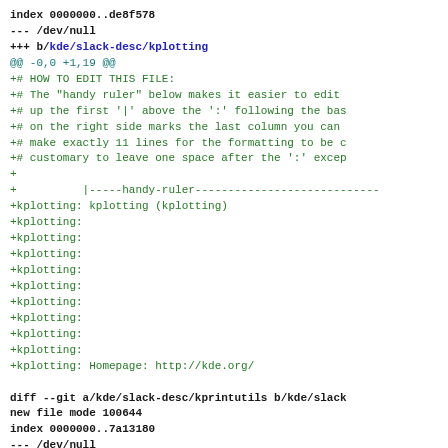index 0000000..de8f578
--- /dev/null
+++ b/kde/slack-desc/kplotting
@@ -0,0 +1,19 @@
+# HOW TO EDIT THIS FILE:
+# The "handy ruler" below makes it easier to edit
+# up the first '|' above the ':' following the bas
+# on the right side marks the last column you can
+# make exactly 11 lines for the formatting to be c
+# customary to leave one space after the ':' excep
+
+          |-----handy-ruler----------------------------
+kplotting: kplotting (kplotting)
+kplotting:
+kplotting:
+kplotting:
+kplotting:
+kplotting:
+kplotting:
+kplotting:
+kplotting:
+kplotting:
+kplotting:
+kplotting: Homepage: http://kde.org/

diff --git a/kde/slack-desc/kprintutils b/kde/slack
new file mode 100644
index 0000000..7a13180
--- /dev/null
+++ b/kde/slack-desc/kprintutils
@@ -0,0 +1,21 @@